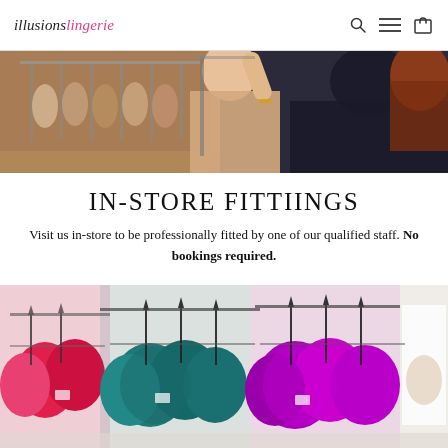illusions lingerie
[Figure (photo): Two women browsing through lingerie on hangers in a store, one with red hair and one in a dark top.]
IN-STORE FITTIINGS
Visit us in-store to be professionally fitted by one of our qualified staff. No bookings required.
[Figure (photo): Colorful bras hanging on store racks — pink, teal, and purple/magenta — in a lingerie boutique.]